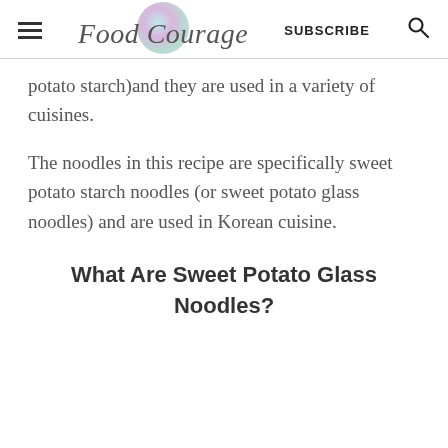Food Courage | SUBSCRIBE
potato starch)and they are used in a variety of cuisines.
The noodles in this recipe are specifically sweet potato starch noodles (or sweet potato glass noodles) and are used in Korean cuisine.
What Are Sweet Potato Glass Noodles?